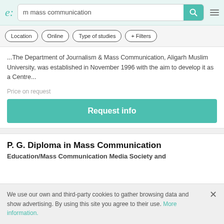e: m mass communication [search bar with search button and menu icon]
Location
Online
Type of studies
+ Filters
...The Department of Journalism & Mass Communication, Aligarh Muslim University, was established in November 1996 with the aim to develop it as a Centre...
Price on request
Request info
P. G. Diploma in Mass Communication
Education/Mass Communication Media Society and...
We use our own and third-party cookies to gather browsing data and show advertising. By using this site you agree to their use. More information.